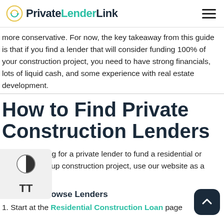PrivateLenderLink
more conservative. For now, the key takeaway from this guide is that if you find a lender that will consider funding 100% of your construction project, you need to have strong financials, lots of liquid cash, and some experience with real estate development.
How to Find Private Construction Lenders
If you're looking for a private lender to fund a residential or family ground-up construction project, use our website as a resource.
Option 1: Browse Lenders
1. Start at the Residential Construction Loan page